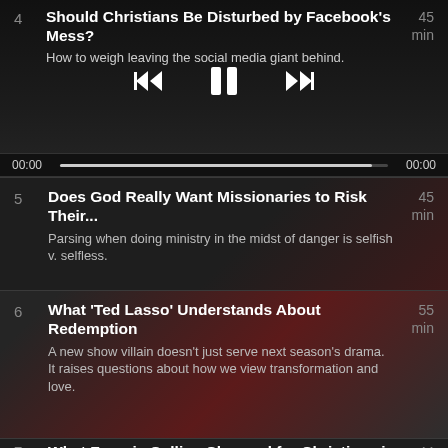4 Should Christians Be Disturbed by Facebook's Mess? How to weigh leaving the social media giant behind. 45 min
[Figure (screenshot): Audio player controls: rewind, pause, fast-forward buttons overlaid on episode 4]
00:00  00:00
5 Does God Really Want Missionaries to Risk Their... Parsing when doing ministry in the midst of danger is selfish v. selfless. 45 min
6 What 'Ted Lasso' Understands About Redemption A new show villain doesn't just serve next season's drama. It raises questions about how we view transformation and love. 55 min
7 What Francis Collins Changed for Christians in ... 44 min
8 Did We Get Tammy Faye Wrong? The late televangelist gets a Hollywood reassessment. 53 min
9 Drones Have Changed the Moral Calculus for War 41 min